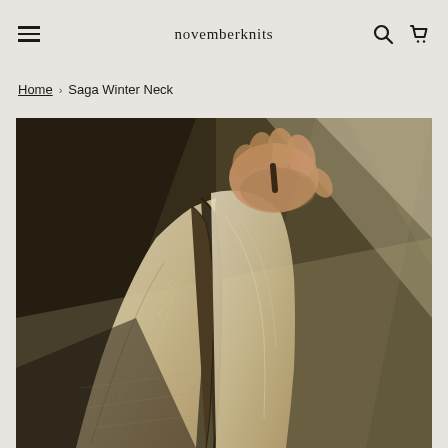novemberknits
Home › Saga Winter Neck
[Figure (photo): Close-up photo of a hand holding a knitted wool neckwarmer or cowl in beige/cream with dark brown stripes, photographed in dramatic natural light against a light background.]